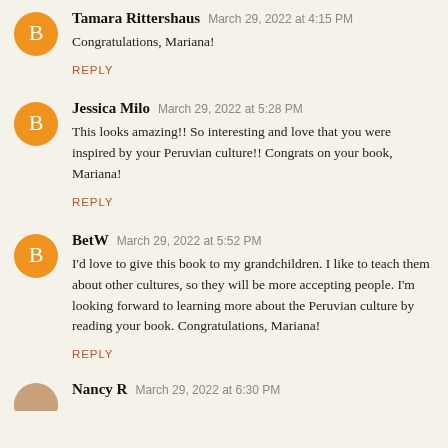Tamara Rittershaus  March 29, 2022 at 4:15 PM
Congratulations, Mariana!
REPLY
Jessica Milo  March 29, 2022 at 5:28 PM
This looks amazing!! So interesting and love that you were inspired by your Peruvian culture!! Congrats on your book, Mariana!
REPLY
BetW  March 29, 2022 at 5:52 PM
I'd love to give this book to my grandchildren. I like to teach them about other cultures, so they will be more accepting people. I'm looking forward to learning more about the Peruvian culture by reading your book. Congratulations, Mariana!
REPLY
Nancy R  March 29, 2022 at 6:30 PM